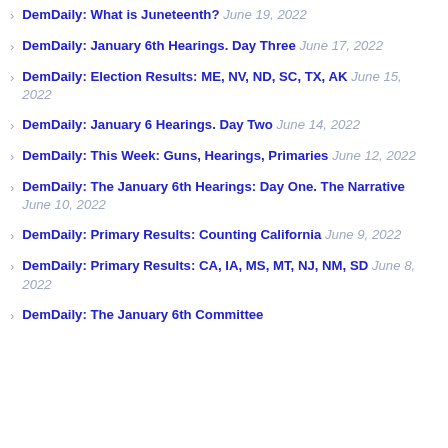DemDaily: What is Juneteenth? June 19, 2022
DemDaily: January 6th Hearings. Day Three June 17, 2022
DemDaily: Election Results: ME, NV, ND, SC, TX, AK June 15, 2022
DemDaily: January 6 Hearings. Day Two June 14, 2022
DemDaily: This Week: Guns, Hearings, Primaries June 12, 2022
DemDaily: The January 6th Hearings: Day One. The Narrative June 10, 2022
DemDaily: Primary Results: Counting California June 9, 2022
DemDaily: Primary Results: CA, IA, MS, MT, NJ, NM, SD June 8, 2022
DemDaily: The January 6th Committee